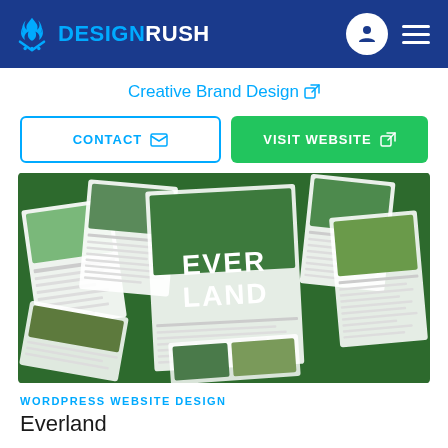[Figure (logo): DesignRush logo with flame icon and stars, white text on dark blue header background, with user icon and hamburger menu on the right]
Creative Brand Design ↗
CONTACT ✉
VISIT WEBSITE ↗
[Figure (photo): Portfolio showcase image for Everland project showing multiple document/magazine pages arranged on a dark green background with 'EVER LAND' text in large white letters]
WORDPRESS WEBSITE DESIGN
Everland